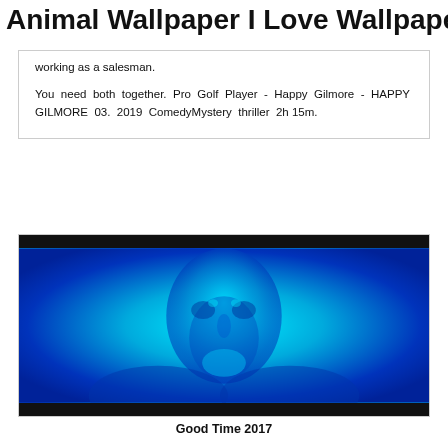Animal Wallpaper I Love Wallpaper
working as a salesman.
You need both together. Pro Golf Player - Happy Gilmore - HAPPY GILMORE 03. 2019 ComedyMystery thriller 2h 15m.
[Figure (photo): A blue-tinted close-up photograph of a person's face looking toward the camera, with film strip borders at top and bottom.]
Good Time 2017